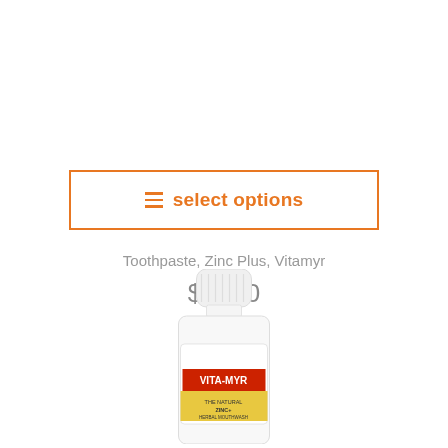[Figure (other): Orange-bordered button with hamburger menu icon and text 'select options']
Toothpaste, Zinc Plus, Vitamyr
$ 3.50
[Figure (photo): Vita-Myr product bottle (white with label showing VITA-MYR brand and herbal mouthwash text), partially cropped at bottom of page]